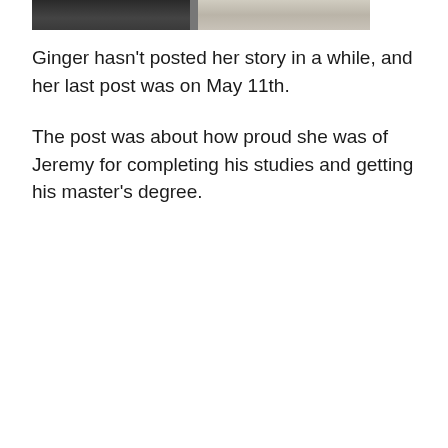[Figure (photo): Partial photo strip showing two people, cropped at the top of the page]
Ginger hasn't posted her story in a while, and her last post was on May 11th.
The post was about how proud she was of Jeremy for completing his studies and getting his master's degree.